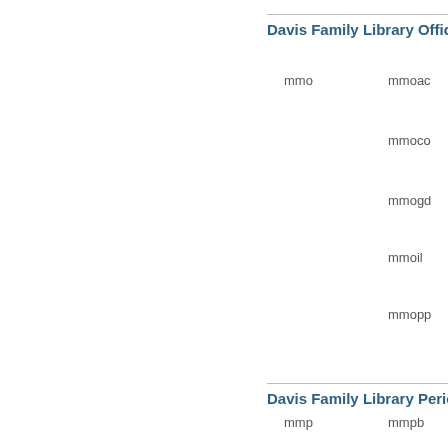Davis Family Library Offic
mmo
mmoac
mmoco
mmogd
mmoil
mmopp
mmore
mmose
mmosy
Davis Family Library Perio
mmp
mmpb
mmpc